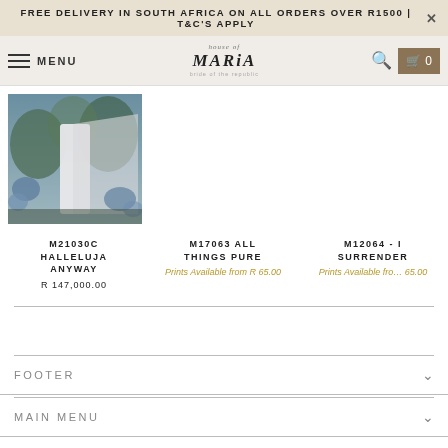FREE DELIVERY IN SOUTH AFRICA ON ALL ORDERS OVER R1500 | T&C'S APPLY
MENU | house of MARiA | search | cart 0
[Figure (photo): Wedding dress photo showing a bride in a white gown with a long flowing cape/veil in a garden setting with blue flowers]
M21030C HALLELUJA ANYWAY
R 147,000.00
M17063 ALL THINGS PURE
Prints Available from R 65.00
M12064 - I SURRENDER
Prints Available from 65.00
FOOTER
MAIN MENU